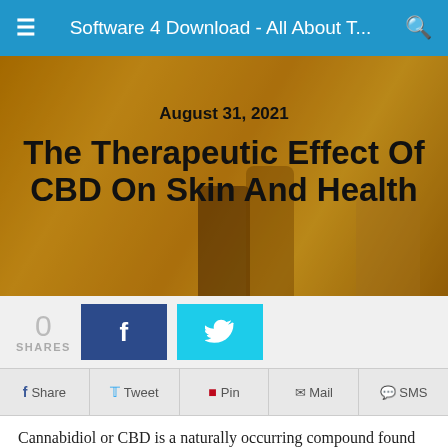Software 4 Download - All About T...
[Figure (photo): Hero image with golden/amber colored background showing CBD oil bottles and a hand; overlaid with article date and title.]
August 31, 2021
The Therapeutic Effect Of CBD On Skin And Health
[Figure (infographic): Share count (0 SHARES) with Facebook and Twitter buttons]
[Figure (infographic): Social sharing row with Share, Tweet, Pin, Mail, SMS buttons]
Cannabidiol or CBD is a naturally occurring compound found in Cannabis plants that has two parts, one hemp plant, and the other marijuana. CBD treats